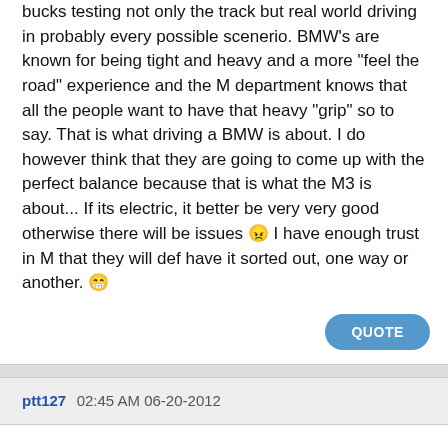bucks testing not only the track but real world driving in probably every possible scenerio. BMW's are known for being tight and heavy and a more "feel the road" experience and the M department knows that all the people want to have that heavy "grip" so to say. That is what driving a BMW is about. I do however think that they are going to come up with the perfect balance because that is what the M3 is about... If its electric, it better be very very good otherwise there will be issues 😠 I have enough trust in M that they will def have it sorted out, one way or another. 😁
QUOTE
ptt127  02:45 AM 06-20-2012
While it's obvious that personal taste plays a big role in one's definition of good steering feel, there are some great observations here.